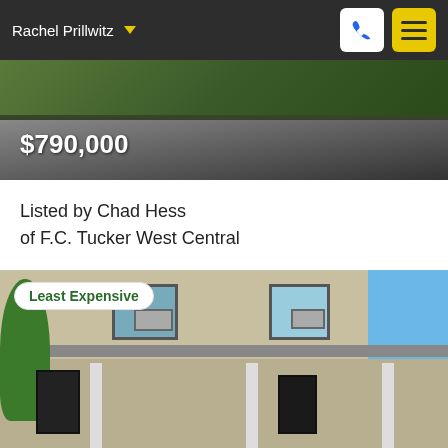Rachel Prillwitz
$790,000
Listed by Chad Hess
of F.C. Tucker West Central
[Figure (photo): Exterior photo of a two-story white/cream house with covered front porch, multiple windows with AC units, two entry doors, and columns. Green trees visible on the left, blue sky on the right.]
Least Expensive